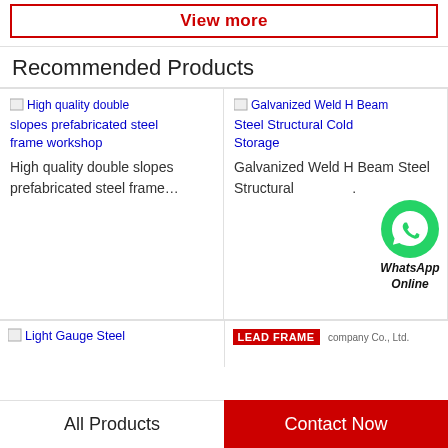View more
Recommended Products
[Figure (screenshot): Broken image placeholder for 'High quality double slopes prefabricated steel frame workshop']
High quality double slopes prefabricated steel frame workshop
High quality double slopes prefabricated steel frame…
[Figure (screenshot): Broken image placeholder for 'Galvanized Weld H Beam Steel Structural Cold Storage']
Galvanized Weld H Beam Steel Structural Cold Storage
Galvanized Weld H Beam Steel Structural .
[Figure (logo): WhatsApp green circle icon with phone graphic, labeled 'WhatsApp Online']
[Figure (screenshot): Broken image placeholder for 'Light Gauge Steel']
[Figure (screenshot): Partial image with text 'LEAD FRAME' on red background]
All Products
Contact Now